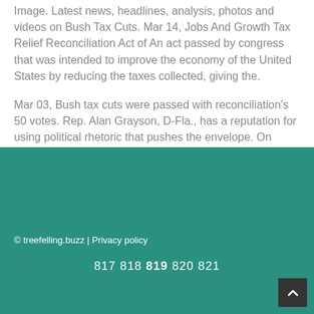Image. Latest news, headlines, analysis, photos and videos on Bush Tax Cuts. Mar 14, Jobs And Growth Tax Relief Reconciliation Act of An act passed by congress that was intended to improve the economy of the United States by reducing the taxes collected, giving the.
Mar 03, Bush tax cuts were passed with reconciliation's 50 votes. Rep. Alan Grayson, D-Fla., has a reputation for using political rhetoric that pushes the envelope. On March 3.
© treefelling.buzz | Privacy policy
817 818 819 820 821